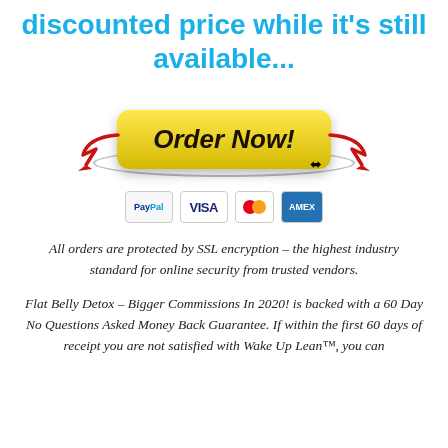discounted price while it's still available...
[Figure (illustration): Yellow 'Order Now!' button with red arrows pointing to it from both sides, oval shadow beneath, with payment icons (PayPal, VISA, Mastercard, Amex) below]
All orders are protected by SSL encryption – the highest industry standard for online security from trusted vendors.
Flat Belly Detox – Bigger Commissions In 2020! is backed with a 60 Day No Questions Asked Money Back Guarantee. If within the first 60 days of receipt you are not satisfied with Wake Up Lean™, you can